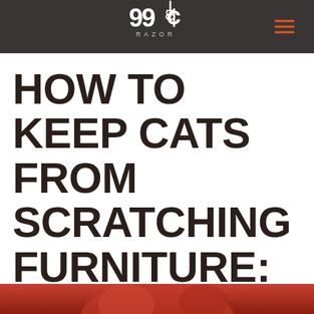99¢ Razor
HOW TO KEEP CATS FROM SCRATCHING FURNITURE: GUIDE + FAQ
[Figure (photo): Bottom strip showing partial image of a cat, reddish-orange tones]